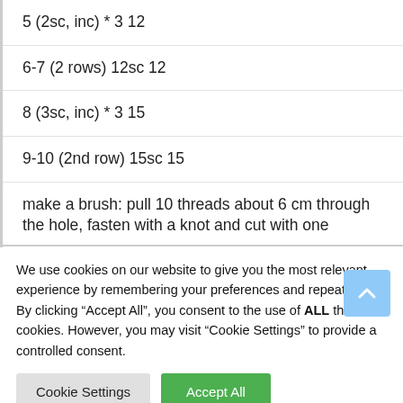5 (2sc, inc) * 3 12
6-7 (2 rows) 12sc 12
8 (3sc, inc) * 3 15
9-10 (2nd row) 15sc 15
make a brush: pull 10 threads about 6 cm through the hole, fasten with a knot and cut with one
We use cookies on our website to give you the most relevant experience by remembering your preferences and repeat visits. By clicking “Accept All”, you consent to the use of ALL the cookies. However, you may visit "Cookie Settings" to provide a controlled consent.